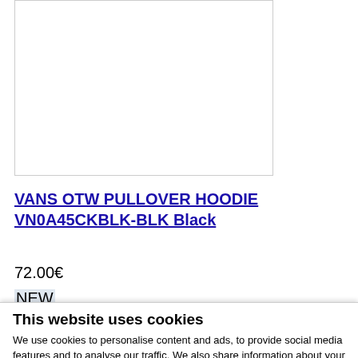[Figure (photo): Product image area (white rectangle with border), showing a Vans hoodie product image area]
VANS OTW PULLOVER HOODIE VN0A45CKBLK-BLK Black
72.00€
NEW
This website uses cookies
We use cookies to personalise content and ads, to provide social media features and to analyse our traffic. We also share information about your use of our site with our social media, advertising and analytics partners who may combine it with other information that you've provided to them or that they've collected from your use of their services.For more information aboout our Cookie policy click here.
Allow selection   Allow all
Necessary   Preferences   Statistics   Marketing   Show details